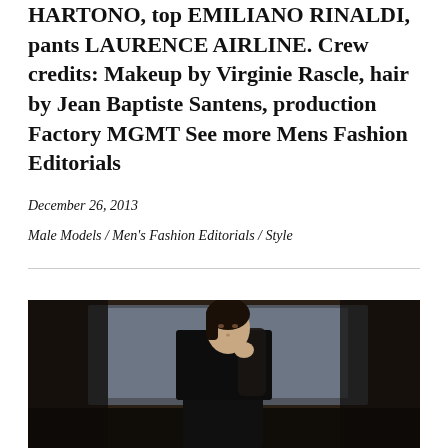HARTONO, top EMILIANO RINALDI, pants LAURENCE AIRLINE. Crew credits: Makeup by Virginie Rascle, hair by Jean Baptiste Santens, production Factory MGMT See more Mens Fashion Editorials
December 26, 2013
Male Models / Men's Fashion Editorials / Style
[Figure (photo): A male model with dark hair wearing a black sleeveless top, posing with hand near face against a light blue/grey wall background in a dimly lit room.]